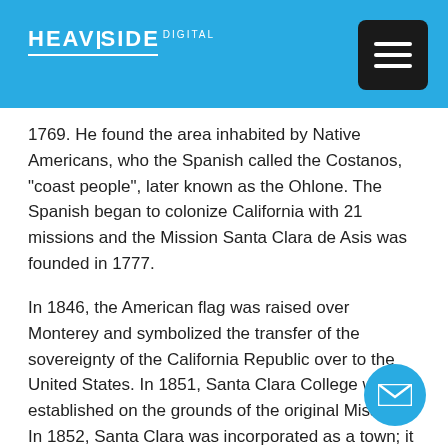HEAVISIDE DIGITAL
1769. He found the area inhabited by Native Americans, who the Spanish called the Costanos, "coast people", later known as the Ohlone. The Spanish began to colonize California with 21 missions and the Mission Santa Clara de Asis was founded in 1777.
In 1846, the American flag was raised over Monterey and symbolized the transfer of the sovereignty of the California Republic over to the United States. In 1851, Santa Clara College was established on the grounds of the original Mission. In 1852, Santa Clara was incorporated as a town; it became state-chartered by 1862.
For the next century the economy centered on agriculture since orchards and vegetables were thriving in the fertile soil. By the beginning of the 20th century, the population had reached and stayed about the same for many years.